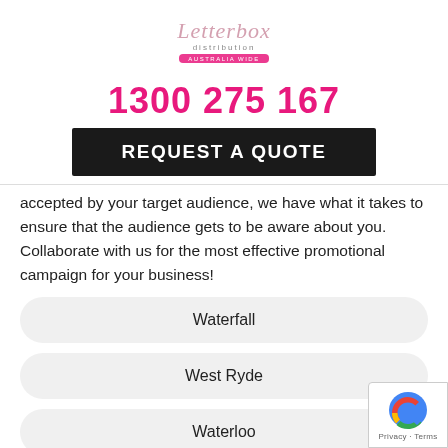[Figure (logo): Letterbox Distribution logo with cursive/script text in pink and grey]
1300 275 167
REQUEST A QUOTE
accepted by your target audience, we have what it takes to ensure that the audience gets to be aware about you. Collaborate with us for the most effective promotional campaign for your business!
Waterfall
West Ryde
Waterloo